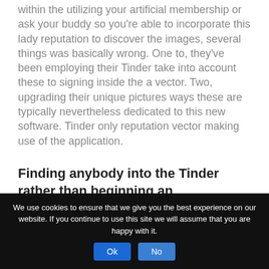within the utilizing your artificial membership or ask your buddy so you're able to incorporate this lady reputation to discover the images, several things was basically wrong. One to, they've been employing their Tinder take into account these to signing inside the a vector. Two, upgrading their unique pictures ways these are typically nevertheless dedicated to this new software. Tinder only reputation vector making use of the application.
Finding anybody into the Tinder rather than beginning an enthusiastic …
six date before begin Tinder and change the fresh new setting to help you ...
We use cookies to ensure that we give you the best experience on our website. If you continue to use this site we will assume that you are happy with it.